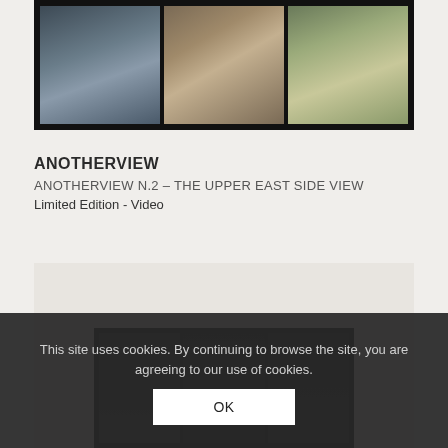[Figure (photo): Aerial cityscape photograph in three panels in a black frame, showing rooftop views of an urban area, partially cropped at top]
ANOTHERVIEW
ANOTHERVIEW N.2 – THE UPPER EAST SIDE VIEW
Limited Edition - Video
[Figure (photo): Second artwork with black frame containing dark interior panels, partially visible, with light gray matting around it]
This site uses cookies. By continuing to browse the site, you are agreeing to our use of cookies.
OK